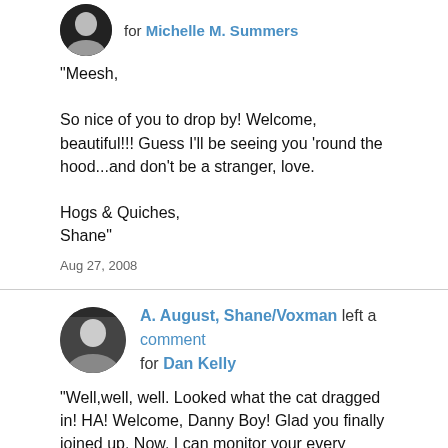for Michelle M. Summers
"Meesh,

So nice of you to drop by! Welcome, beautiful!!! Guess I'll be seeing you 'round the hood...and don't be a stranger, love.

Hogs & Quiches,
Shane"
Aug 27, 2008
A. August, Shane/Voxman left a comment for Dan Kelly
"Well,well, well. Looked what the cat dragged in! HA! Welcome, Danny Boy! Glad you finally joined up. Now, I can monitor your every move with the new VU spyware! Muhuhahaha!!!!! J.K.

Hope all is well up there, Mr. Talented Radio Guy. Take